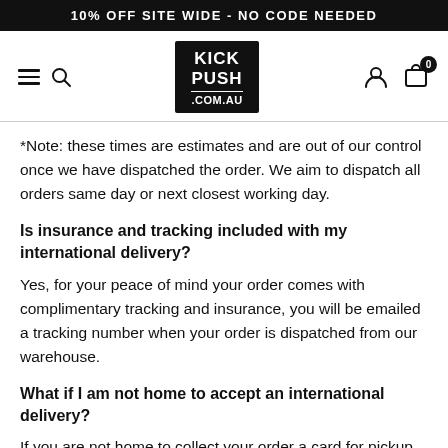10% OFF SITE WIDE - NO CODE NEEDED
[Figure (logo): KICK PUSH .COM.AU logo in white text on black background square]
*Note: these times are estimates and are out of our control once we have dispatched the order. We aim to dispatch all orders same day or next closest working day.
Is insurance and tracking included with my international delivery?
Yes, for your peace of mind your order comes with complimentary tracking and insurance, you will be emailed a tracking number when your order is dispatched from our warehouse.
What if I am not home to accept an international delivery?
If you are not home to collect your order a card for pickup will be left in your letterbox.